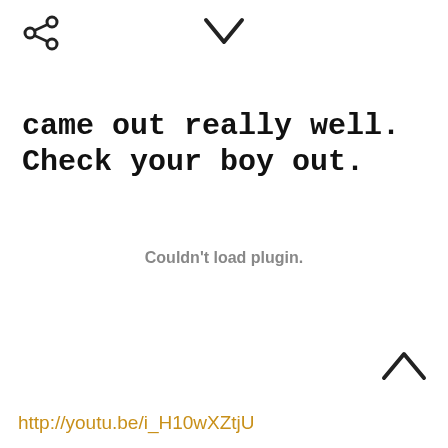[Figure (other): Share icon (arrow pointing left with dots)]
[Figure (other): Chevron down icon]
came out really well.  Check your boy out.
[Figure (screenshot): Embedded video plugin area showing 'Couldn't load plugin.' message in gray text]
[Figure (other): Chevron up icon]
http://youtu.be/i_H10wXZtjU